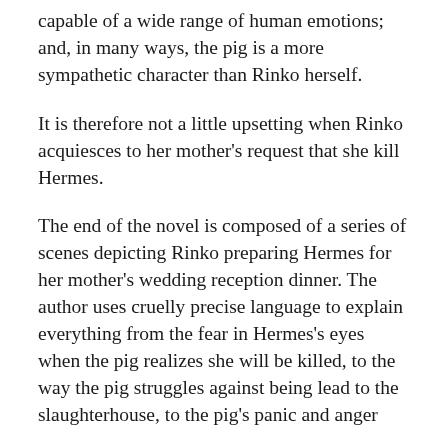capable of a wide range of human emotions; and, in many ways, the pig is a more sympathetic character than Rinko herself.
It is therefore not a little upsetting when Rinko acquiesces to her mother's request that she kill Hermes.
The end of the novel is composed of a series of scenes depicting Rinko preparing Hermes for her mother's wedding reception dinner. The author uses cruelly precise language to explain everything from the fear in Hermes's eyes when the pig realizes she will be killed, to the way the pig struggles against being lead to the slaughterhouse, to the pig's panic and anger